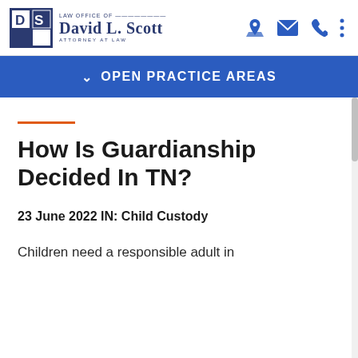[Figure (logo): Law Office of David L. Scott, Attorney at Law — logo with DS monogram and nav icons]
OPEN PRACTICE AREAS
How Is Guardianship Decided In TN?
23 June 2022 IN: Child Custody
Children need a responsible adult in